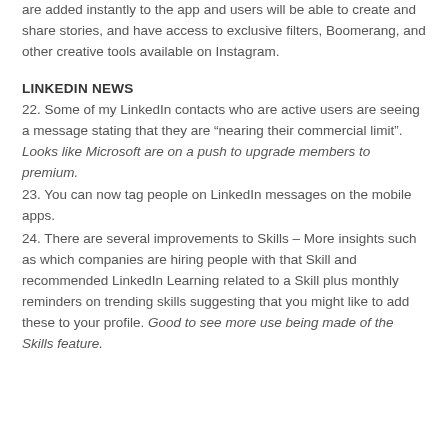are added instantly to the app and users will be able to create and share stories, and have access to exclusive filters, Boomerang, and other creative tools available on Instagram.
LINKEDIN NEWS
22. Some of my LinkedIn contacts who are active users are seeing a message stating that they are “nearing their commercial limit”. Looks like Microsoft are on a push to upgrade members to premium.
23. You can now tag people on LinkedIn messages on the mobile apps.
24. There are several improvements to Skills – More insights such as which companies are hiring people with that Skill and recommended LinkedIn Learning related to a Skill plus monthly reminders on trending skills suggesting that you might like to add these to your profile. Good to see more use being made of the Skills feature.